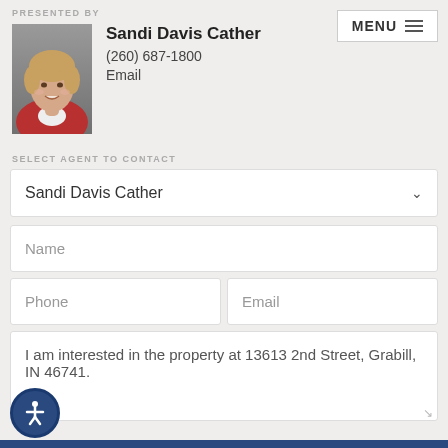PRESENTED BY
[Figure (photo): Headshot photo of Sandi Davis Cather, a woman with short blonde hair wearing a red jacket]
Sandi Davis Cather
(260) 687-1800
Email
MENU
SELECT AGENT TO CONTACT
Sandi Davis Cather
Name
Phone
Email
I am interested in the property at 13613 2nd Street, Grabill, IN 46741.